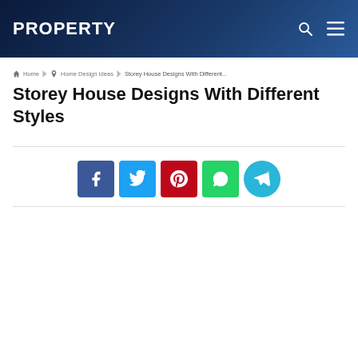PROPERTY
Home > Home Design Ideas > Storey House Designs With Different...
Storey House Designs With Different Styles
[Figure (infographic): Row of social share buttons: Facebook (dark blue), Twitter (light blue), Pinterest (red), WhatsApp (green), Telegram (cyan circle)]